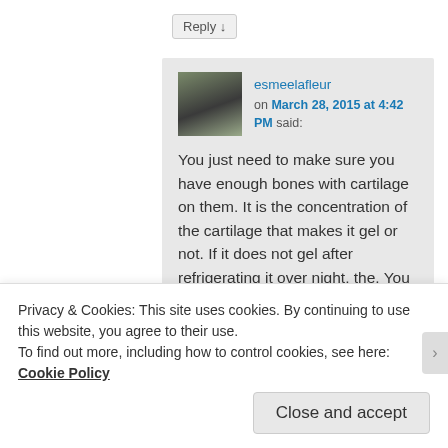Reply ↓
esmeelafleur on March 28, 2015 at 4:42 PM said:
You just need to make sure you have enough bones with cartilage on them. It is the concentration of the cartilage that makes it gel or not. If it does not gel after refrigerating it over night, the. You need to simmer it on low and evaporate off some of the water.
Privacy & Cookies: This site uses cookies. By continuing to use this website, you agree to their use.
To find out more, including how to control cookies, see here: Cookie Policy
Close and accept